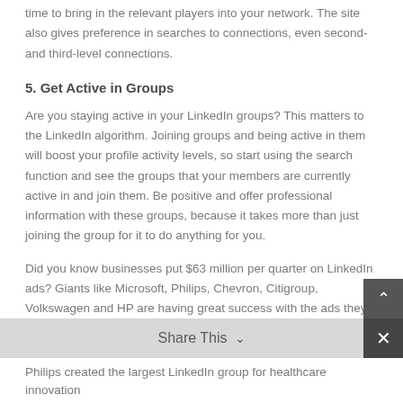time to bring in the relevant players into your network. The site also gives preference in searches to connections, even second- and third-level connections.
5. Get Active in Groups
Are you staying active in your LinkedIn groups? This matters to the LinkedIn algorithm. Joining groups and being active in them will boost your profile activity levels, so start using the search function and see the groups that your members are currently active in and join them. Be positive and offer professional information with these groups, because it takes more than just joining the group for it to do anything for you.
Did you know businesses put $63 million per quarter on LinkedIn ads? Giants like Microsoft, Philips, Chevron, Citigroup, Volkswagen and HP are having great success with the ads they pay for, which brings a great return on investment.
Philips created the largest LinkedIn group for healthcare innovation